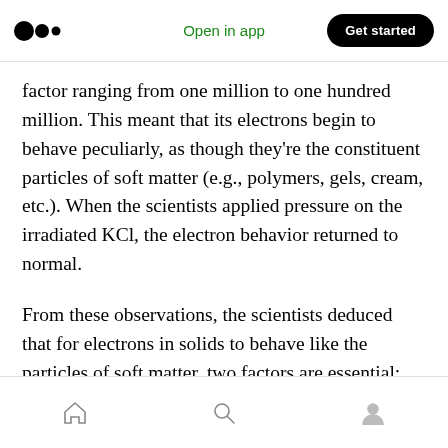Open in app | Get started
factor ranging from one million to one hundred million. This meant that its electrons begin to behave peculiarly, as though they're the constituent particles of soft matter (e.g., polymers, gels, cream, etc.). When the scientists applied pressure on the irradiated KCl, the electron behavior returned to normal.
From these observations, the scientists deduced that for electrons in solids to behave like the particles of soft matter, two factors are essential: the material must be in the vicinity of the Mott-
Home | Search | Profile